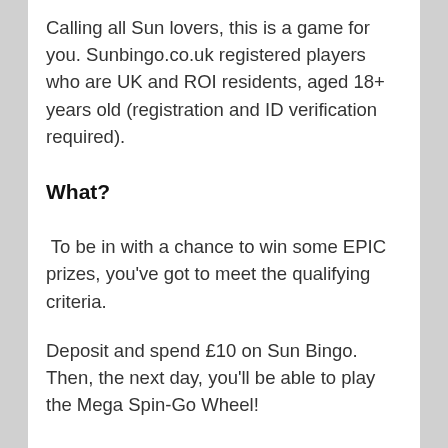Calling all Sun lovers, this is a game for you. Sunbingo.co.uk registered players who are UK and ROI residents, aged 18+ years old (registration and ID verification required).
What?
To be in with a chance to win some EPIC prizes, you've got to meet the qualifying criteria.
Deposit and spend £10 on Sun Bingo. Then, the next day, you'll be able to play the Mega Spin-Go Wheel!
Players can only spin the wheel once per day BUT, you can spin both the regular Spin-Go Wheel AND the Mega Spin-Go Wheel each day